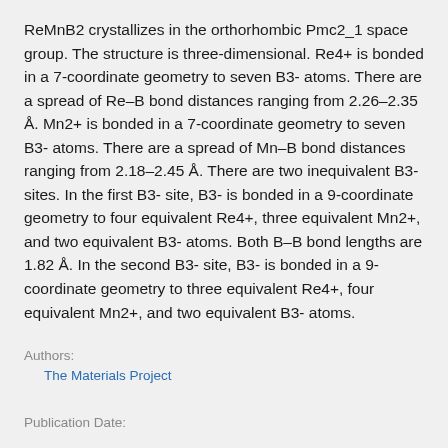ReMnB2 crystallizes in the orthorhombic Pmc2_1 space group. The structure is three-dimensional. Re4+ is bonded in a 7-coordinate geometry to seven B3- atoms. There are a spread of Re–B bond distances ranging from 2.26–2.35 Å. Mn2+ is bonded in a 7-coordinate geometry to seven B3- atoms. There are a spread of Mn–B bond distances ranging from 2.18–2.45 Å. There are two inequivalent B3- sites. In the first B3- site, B3- is bonded in a 9-coordinate geometry to four equivalent Re4+, three equivalent Mn2+, and two equivalent B3- atoms. Both B–B bond lengths are 1.82 Å. In the second B3- site, B3- is bonded in a 9-coordinate geometry to three equivalent Re4+, four equivalent Mn2+, and two equivalent B3- atoms.
Authors:
The Materials Project
Publication Date: